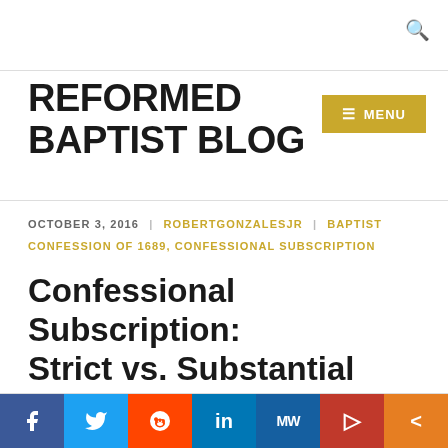REFORMED BAPTIST BLOG
REFORMED BAPTIST BLOG
OCTOBER 3, 2016 | ROBERTGONZALESJR | BAPTIST CONFESSION OF 1689, CONFESSIONAL SUBSCRIPTION
Confessional Subscription: Strict vs. Substantial
[Figure (infographic): Social media share buttons: Facebook, Twitter, Reddit, LinkedIn, MW, Parler, Share]